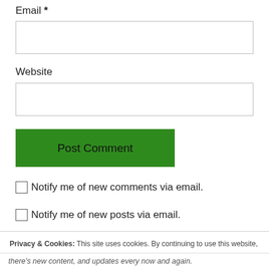Email *
Website
Post Comment
Notify me of new comments via email.
Notify me of new posts via email.
Privacy & Cookies: This site uses cookies. By continuing to use this website, you agree to their use. To find out more, including how to control cookies, see here: Cookie Policy
Close and accept
there's new content, and updates every now and again.